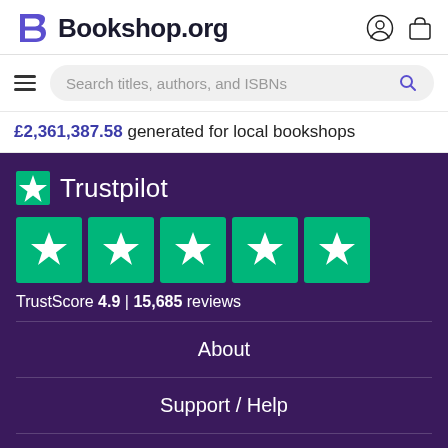[Figure (logo): Bookshop.org logo with stylized B icon and site name]
[Figure (screenshot): Search bar with text 'Search titles, authors, and ISBNs' and hamburger menu]
£2,361,387.58 generated for local bookshops
[Figure (logo): Trustpilot logo with green star and text 'Trustpilot', five green star rating boxes, TrustScore 4.9 | 15,685 reviews]
About
Support / Help
Become an Affiliate
Gift Cards